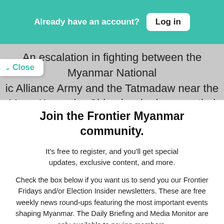Already have an account? Log in
An escalation in fighting between the Myanmar National ic Alliance Army and the Tatmadaw near the Mong Ko on the China border has emptied
Close
Join the Frontier Myanmar community.
It's free to register, and you'll get special updates, exclusive content, and more.
Check the box below if you want us to send you our Frontier Fridays and/or Election Insider newsletters. These are free weekly news round-ups featuring the most important events shaping Myanmar. The Daily Briefing and Media Monitor are only available to paying members.